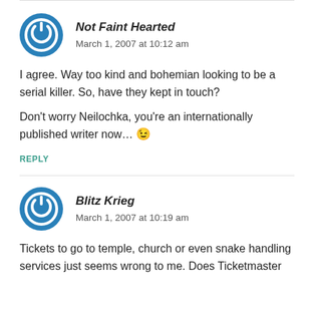Not Faint Hearted
March 1, 2007 at 10:12 am
I agree. Way too kind and bohemian looking to be a serial killer. So, have they kept in touch?
Don't worry Neilochka, you're an internationally published writer now... 😉
REPLY
Blitz Krieg
March 1, 2007 at 10:19 am
Tickets to go to temple, church or even snake handling services just seems wrong to me. Does Ticketmaster